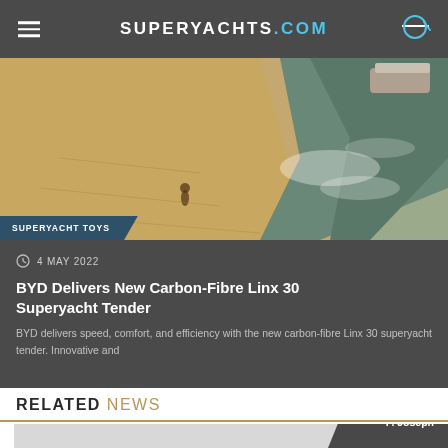SUPERYACHTS.COM
[Figure (photo): Aerial view of a beach shoreline with sand, water, and a person near a small boat or tender]
SUPERYACHT TOYS
4 MAY 2022
BYD Delivers New Carbon-Fibre Linx 30 Superyacht Tender
BYD delivers speed, comfort, and efficiency with the new carbon-fibre Linx 30 superyacht tender. Innovative and
RELATED NEWS
[Figure (photo): Partial bottom-area related news card with author overlay showing By P. Joseph]